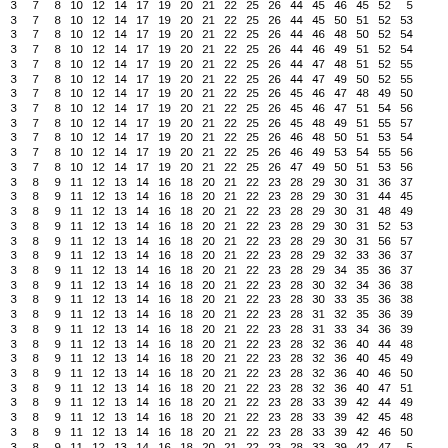| 3 | 7 | 8 | 10 | 12 | 14 | 17 | 19 | 20 | 21 | 22 | 25 | 26 | 44 | 45 | 46 | 45 | 52 | 5 |
| 3 | 7 | 8 | 10 | 12 | 14 | 17 | 19 | 20 | 21 | 22 | 25 | 26 | 44 | 45 | 50 | 51 | 52 | 53 |
| 3 | 7 | 8 | 10 | 12 | 14 | 17 | 19 | 20 | 21 | 22 | 25 | 26 | 44 | 46 | 48 | 50 | 52 | 54 |
| 3 | 7 | 8 | 10 | 12 | 14 | 17 | 19 | 20 | 21 | 22 | 25 | 26 | 44 | 46 | 49 | 51 | 52 | 54 |
| 3 | 7 | 8 | 10 | 12 | 14 | 17 | 19 | 20 | 21 | 22 | 25 | 26 | 44 | 47 | 48 | 51 | 52 | 55 |
| 3 | 7 | 8 | 10 | 12 | 14 | 17 | 19 | 20 | 21 | 22 | 25 | 26 | 44 | 47 | 49 | 50 | 52 | 55 |
| 3 | 7 | 8 | 10 | 12 | 14 | 17 | 19 | 20 | 21 | 22 | 25 | 26 | 45 | 46 | 47 | 48 | 49 | 50 |
| 3 | 7 | 8 | 10 | 12 | 14 | 17 | 19 | 20 | 21 | 22 | 25 | 26 | 45 | 46 | 47 | 51 | 54 | 56 |
| 3 | 7 | 8 | 10 | 12 | 14 | 17 | 19 | 20 | 21 | 22 | 25 | 26 | 45 | 48 | 49 | 51 | 55 | 57 |
| 3 | 7 | 8 | 10 | 12 | 14 | 17 | 19 | 20 | 21 | 22 | 25 | 26 | 46 | 48 | 50 | 51 | 53 | 54 |
| 3 | 7 | 8 | 10 | 12 | 14 | 17 | 19 | 20 | 21 | 22 | 25 | 26 | 46 | 49 | 53 | 54 | 55 | 56 |
| 3 | 7 | 8 | 10 | 12 | 14 | 17 | 19 | 20 | 21 | 22 | 25 | 26 | 47 | 49 | 50 | 51 | 53 | 56 |
| 3 | 8 | 9 | 11 | 12 | 13 | 14 | 16 | 18 | 20 | 21 | 22 | 23 | 28 | 29 | 30 | 31 | 36 | 37 |
| 3 | 8 | 9 | 11 | 12 | 13 | 14 | 16 | 18 | 20 | 21 | 22 | 23 | 28 | 29 | 30 | 31 | 44 | 45 |
| 3 | 8 | 9 | 11 | 12 | 13 | 14 | 16 | 18 | 20 | 21 | 22 | 23 | 28 | 29 | 30 | 31 | 48 | 49 |
| 3 | 8 | 9 | 11 | 12 | 13 | 14 | 16 | 18 | 20 | 21 | 22 | 23 | 28 | 29 | 30 | 31 | 52 | 53 |
| 3 | 8 | 9 | 11 | 12 | 13 | 14 | 16 | 18 | 20 | 21 | 22 | 23 | 28 | 29 | 30 | 31 | 56 | 57 |
| 3 | 8 | 9 | 11 | 12 | 13 | 14 | 16 | 18 | 20 | 21 | 22 | 23 | 28 | 29 | 32 | 33 | 36 | 37 |
| 3 | 8 | 9 | 11 | 12 | 13 | 14 | 16 | 18 | 20 | 21 | 22 | 23 | 28 | 29 | 34 | 35 | 36 | 37 |
| 3 | 8 | 9 | 11 | 12 | 13 | 14 | 16 | 18 | 20 | 21 | 22 | 23 | 28 | 30 | 32 | 34 | 36 | 38 |
| 3 | 8 | 9 | 11 | 12 | 13 | 14 | 16 | 18 | 20 | 21 | 22 | 23 | 28 | 30 | 33 | 35 | 36 | 38 |
| 3 | 8 | 9 | 11 | 12 | 13 | 14 | 16 | 18 | 20 | 21 | 22 | 23 | 28 | 31 | 32 | 35 | 36 | 39 |
| 3 | 8 | 9 | 11 | 12 | 13 | 14 | 16 | 18 | 20 | 21 | 22 | 23 | 28 | 31 | 33 | 34 | 36 | 39 |
| 3 | 8 | 9 | 11 | 12 | 13 | 14 | 16 | 18 | 20 | 21 | 22 | 23 | 28 | 32 | 36 | 40 | 44 | 48 |
| 3 | 8 | 9 | 11 | 12 | 13 | 14 | 16 | 18 | 20 | 21 | 22 | 23 | 28 | 32 | 36 | 40 | 45 | 49 |
| 3 | 8 | 9 | 11 | 12 | 13 | 14 | 16 | 18 | 20 | 21 | 22 | 23 | 28 | 32 | 36 | 40 | 46 | 50 |
| 3 | 8 | 9 | 11 | 12 | 13 | 14 | 16 | 18 | 20 | 21 | 22 | 23 | 28 | 32 | 36 | 40 | 47 | 51 |
| 3 | 8 | 9 | 11 | 12 | 13 | 14 | 16 | 18 | 20 | 21 | 22 | 23 | 28 | 33 | 39 | 42 | 44 | 49 |
| 3 | 8 | 9 | 11 | 12 | 13 | 14 | 16 | 18 | 20 | 21 | 22 | 23 | 28 | 33 | 39 | 42 | 45 | 48 |
| 3 | 8 | 9 | 11 | 12 | 13 | 14 | 16 | 18 | 20 | 21 | 22 | 23 | 28 | 33 | 39 | 42 | 46 | 50 |
| 3 | 8 | 9 | 11 | 12 | 13 | 14 | 16 | 18 | 20 | 21 | 22 | 23 | 28 | 33 | 39 | 42 | 47 | 5 |